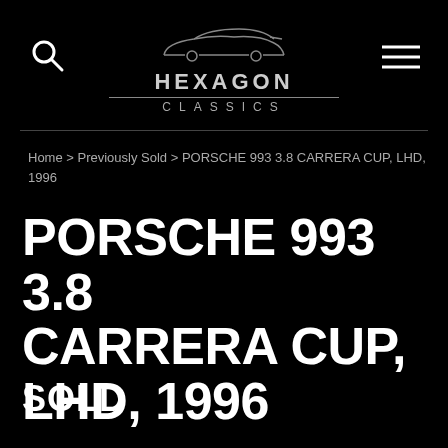HEXAGON CLASSICS
Home > Previously Sold > PORSCHE 993 3.8 CARRERA CUP, LHD, 1996
PORSCHE 993 3.8 CARRERA CUP, LHD, 1996
SOLD